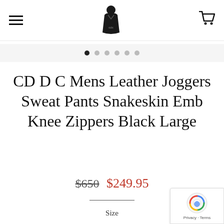[Figure (screenshot): Website header with hamburger menu icon on the left, a small black leather product logo/icon in the center, and a shopping cart icon on the right]
[Figure (other): Image carousel navigation dots: 6 dots, first one filled black (active), rest gray]
CD D C Mens Leather Joggers Sweat Pants Snakeskin Emb Knee Zippers Black Large
$650 $249.95
Size